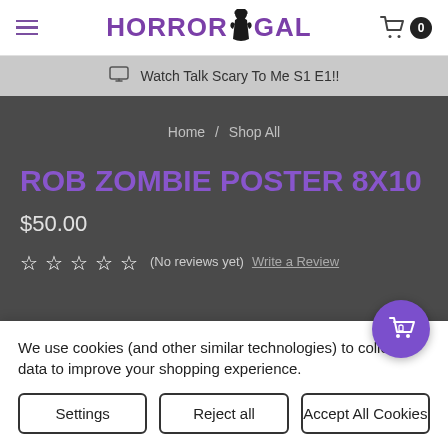HORRORGAL
Watch Talk Scary To Me S1 E1!!
Home / Shop All
ROB ZOMBIE POSTER 8X10
$50.00
★★★★★ (No reviews yet) Write a Review
We use cookies (and other similar technologies) to collect data to improve your shopping experience.
Settings | Reject all | Accept All Cookies